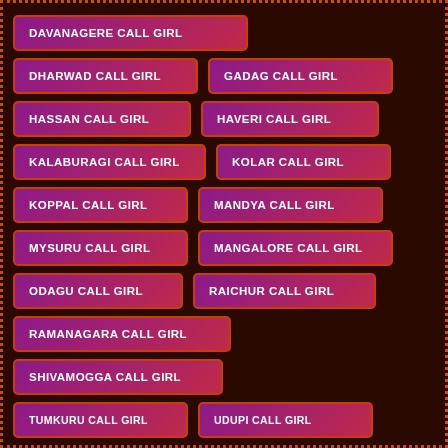DAVANAGERE CALL GIRL
DHARWAD CALL GIRL
GADAG CALL GIRL
HASSAN CALL GIRL
HAVERI CALL GIRL
KALABURAGI CALL GIRL
KOLAR CALL GIRL
KOPPAL CALL GIRL
MANDYA CALL GIRL
MYSURU CALL GIRL
MANGALORE CALL GIRL
ODAGU CALL GIRL
RAICHUR CALL GIRL
RAMANAGARA CALL GIRL
SHIVAMOGGA CALL GIRL
TUMKURU CALL GIRL
UDUPI CALL GIRL